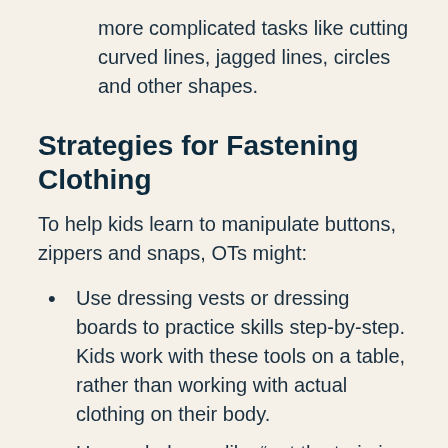more complicated tasks like cutting curved lines, jagged lines, circles and other shapes.
Strategies for Fastening Clothing
To help kids learn to manipulate buttons, zippers and snaps, OTs might:
Use dressing vests or dressing boards to practice skills step-by-step. Kids work with these tools on a table, rather than working with actual clothing on their body.
Use verbal cues like “put the train in the station then pull it up the tracks” to help